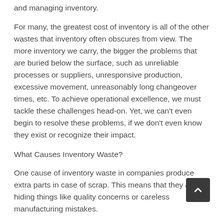and managing inventory.
For many, the greatest cost of inventory is all of the other wastes that inventory often obscures from view. The more inventory we carry, the bigger the problems that are buried below the surface, such as unreliable processes or suppliers, unresponsive production, excessive movement, unreasonably long changeover times, etc. To achieve operational excellence, we must tackle these challenges head-on. Yet, we can't even begin to resolve these problems, if we don't even know they exist or recognize their impact.
What Causes Inventory Waste?
One cause of inventory waste in companies produce extra parts in case of scrap. This means that they are hiding things like quality concerns or careless manufacturing mistakes.